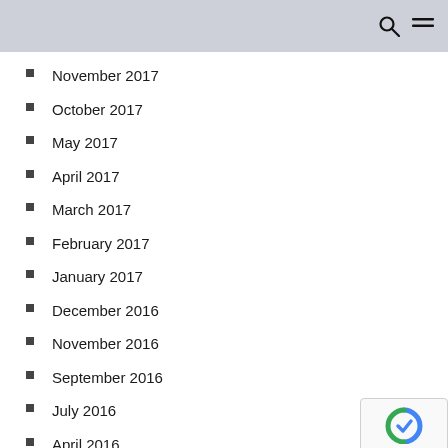November 2017
October 2017
May 2017
April 2017
March 2017
February 2017
January 2017
December 2016
November 2016
September 2016
July 2016
April 2016